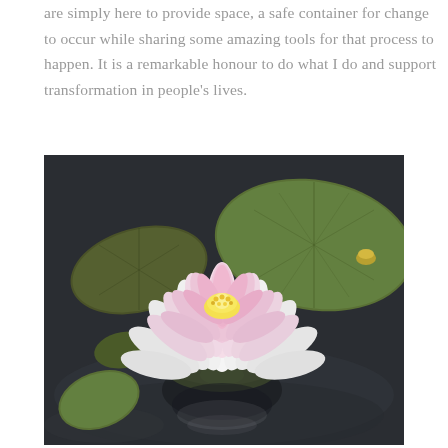are simply here to provide space, a safe container for change to occur while sharing some amazing tools for that process to happen. It is a remarkable honour to do what I do and support transformation in people's lives.
[Figure (photo): A pink and white lotus flower in bloom, floating on dark water surrounded by large green lily pads.]